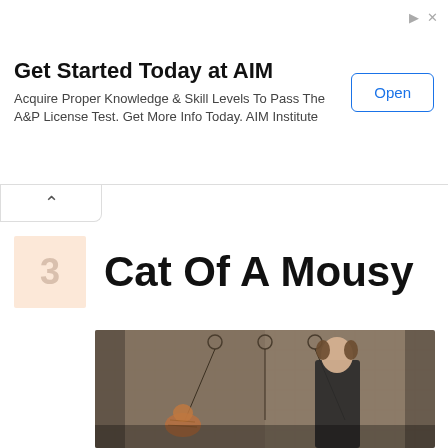[Figure (infographic): Advertisement banner for AIM Institute with Open button]
Get Started Today at AIM
Acquire Proper Knowledge & Skill Levels To Pass The A&P License Test. Get More Info Today. AIM Institute
3   Cat Of A Mousy
[Figure (photo): Sepia-toned surreal photograph of a young woman in black dress holding a marionette string, next to a suspended cat, against a textured wall background]